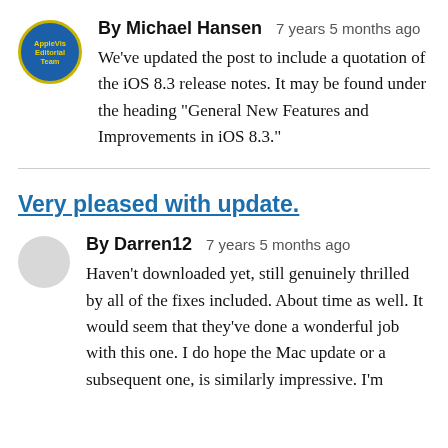By Michael Hansen   7 years 5 months ago
We've updated the post to include a quotation of the iOS 8.3 release notes. It may be found under the heading "General New Features and Improvements in iOS 8.3."
Very pleased with update.
By Darren12   7 years 5 months ago
Haven't downloaded yet, still genuinely thrilled by all of the fixes included. About time as well. It would seem that they've done a wonderful job with this one. I do hope the Mac update or a subsequent one, is similarly impressive. I'm